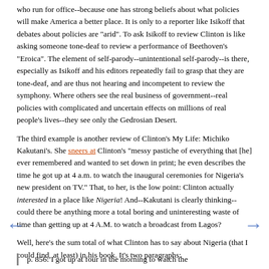who run for office--because one has strong beliefs about what policies will make America a better place. It is only to a reporter like Isikoff that debates about policies are "arid". To ask Isikoff to review Clinton is like asking someone tone-deaf to review a performance of Beethoven's "Eroica". The element of self-parody--unintentional self-parody--is there, especially as Isikoff and his editors repeatedly fail to grasp that they are tone-deaf, and are thus not hearing and incompetent to review the symphony. Where others see the real business of government--real policies with complicated and uncertain effects on millions of real people's lives--they see only the Gedrosian Desert.
The third example is another review of Clinton's My Life: Michiko Kakutani's. She sneers at Clinton's "messy pastiche of everything that [he] ever remembered and wanted to set down in print; he even describes the time he got up at 4 a.m. to watch the inaugural ceremonies for Nigeria's new president on TV." That, to her, is the low point: Clinton actually interested in a place like Nigeria! And--Kakutani is clearly thinking--could there be anything more a total boring and uninteresting waste of time than getting up at 4 A.M. to watch a broadcast from Lagos?
Well, here's the sum total of what Clinton has to say about Nigeria (that I could find, at least) in his book. It's two paragraphs:
p. 856: I got up at four in the morning to watch the